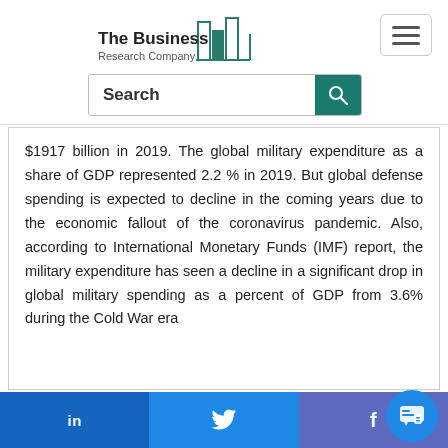[Figure (logo): The Business Research Company logo with teal bar chart icon and text]
[Figure (other): Search bar with teal search button]
$1917 billion in 2019. The global military expenditure as a share of GDP represented 2.2 % in 2019. But global defense spending is expected to decline in the coming years due to the economic fallout of the coronavirus pandemic. Also, according to International Monetary Funds (IMF) report, the military expenditure has seen a decline in a significant drop in global military spending as a percent of GDP from 3.6% during the Cold War era
LinkedIn | Twitter | Facebook